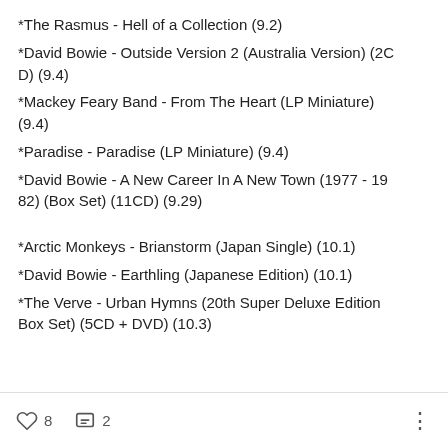*The Rasmus - Hell of a Collection (9.2)
*David Bowie - Outside Version 2 (Australia Version) (2CD) (9.4)
*Mackey Feary Band - From The Heart (LP Miniature) (9.4)
*Paradise - Paradise (LP Miniature) (9.4)
*David Bowie - A New Career In A New Town (1977 - 1982) (Box Set) (11CD) (9.29)
*Arctic Monkeys - Brianstorm (Japan Single) (10.1)
*David Bowie - Earthling (Japanese Edition) (10.1)
*The Verve - Urban Hymns (20th Super Deluxe Edition Box Set) (5CD + DVD) (10.3)
8 likes  2 comments